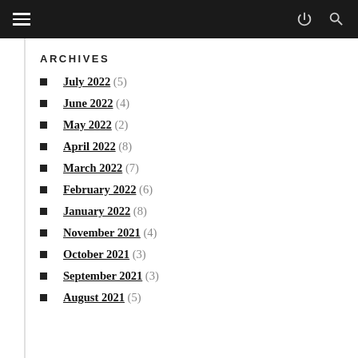Archives — website navigation bar
ARCHIVES
July 2022 (5)
June 2022 (4)
May 2022 (2)
April 2022 (8)
March 2022 (7)
February 2022 (6)
January 2022 (8)
November 2021 (4)
October 2021 (3)
September 2021 (3)
August 2021 (5)